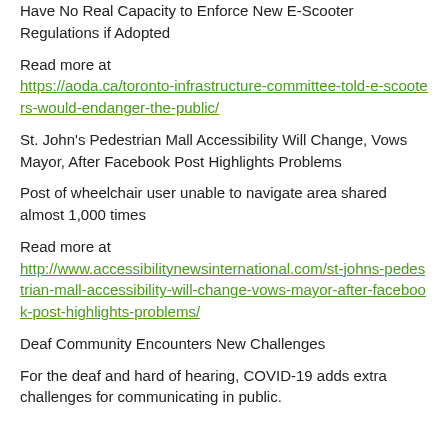Have No Real Capacity to Enforce New E-Scooter Regulations if Adopted
Read more at https://aoda.ca/toronto-infrastructure-committee-told-e-scooters-would-endanger-the-public/
St. John's Pedestrian Mall Accessibility Will Change, Vows Mayor, After Facebook Post Highlights Problems
Post of wheelchair user unable to navigate area shared almost 1,000 times
Read more at http://www.accessibilitynewsinternational.com/st-johns-pedestrian-mall-accessibility-will-change-vows-mayor-after-facebook-post-highlights-problems/
Deaf Community Encounters New Challenges
For the deaf and hard of hearing, COVID-19 adds extra challenges for communicating in public.